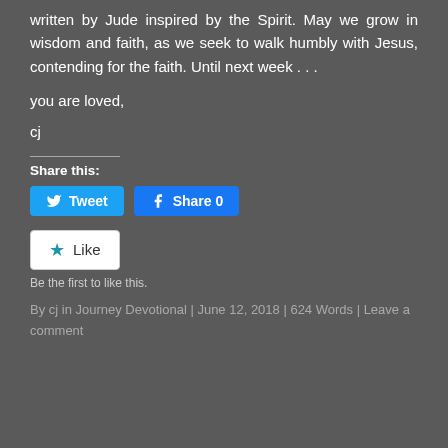written by Jude inspired by the Spirit. May we grow in wisdom and faith, as we seek to walk humbly with Jesus, contending for the faith. Until next week . . .
you are loved,
cj
Share this:
Tweet
Share 0
Like
Be the first to like this.
By cj in Journey Devotional | June 12, 2018 | 624 Words | Leave a comment